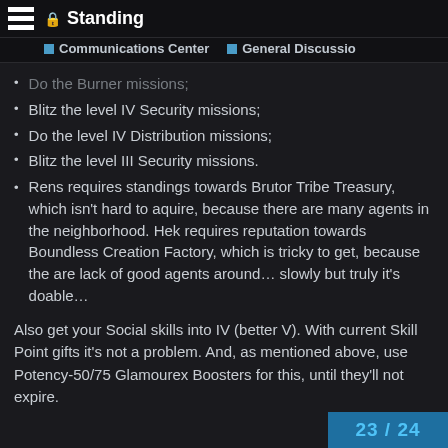Standing
Communications Center  General Discussio
Do the Burner missions;
Blitz the level IV Security missions;
Do the level IV Distribution missions;
Blitz the level III Security missions.
Rens requires standings towards Brutor Tribe Treasury, which isn't hard to aquire, because there are many agents in the neighborhood. Hek requires reputation towards Boundless Creation Factory, which is tricky to get, because the are lack of good agents around… slowly but truly it's doable…
Also get your Social skills into IV (better V). With current Skill Point gifts it's not a problem. And, as mentioned above, use Potency-50/75 Glamourex Boosters for this, until they'll not expire.
23 / 24